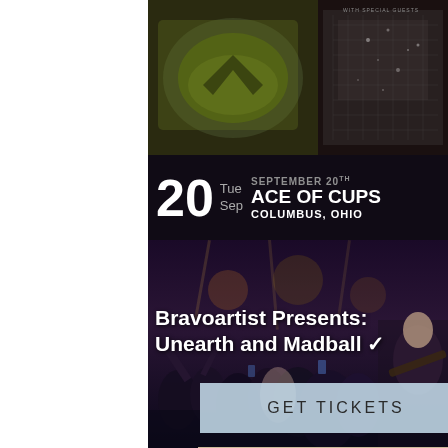[Figure (photo): Concert event photo at top showing Batman logo/merchandise and crowd/sparkle imagery on dark background]
20  Tue Sep  SEPTEMBER 20TH  ACE OF CUPS  COLUMBUS, OHIO
Bravoartist Presents: Unearth and Madball
[Figure (photo): Concert crowd photo with people at a metal/hardcore show, dark venue with stage lighting]
GET TICKETS
[Figure (photo): WAND band poster with beige/tan background showing band name WAND in large letters, VISUALS BY MAD ALCHEMIST subtitle, and photo of band members]
ARCHER FOX LIVE PRESENTS
WAND
VISUALS BY MAD ALCHEMIST